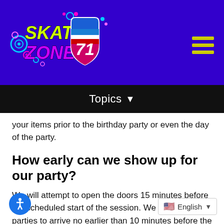[Figure (logo): Skate Zone 71 logo with colorful neon text on purple background]
Topics
your items prior to the birthday party or even the day of the party.
How early can we show up for our party?
We will attempt to open the doors 15 minutes before the scheduled start of the session. We suggest to all parties to arrive no earlier than 10 minutes before the party.